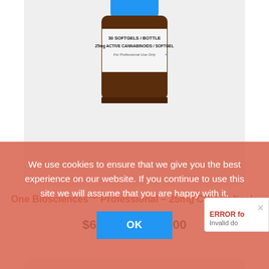[Figure (photo): Partial view of a brown supplement bottle with blue cap. Label reads: 30 SOFTGELS / BOTTLE, 25mg ACTIVE CANNABINOIDS / SOFTGEL, For Professional Use Only]
One Biosciences™ Professional – 25mg CBD Softgels
$69.00 – $119.00
[Figure (photo): Bottom portion of a second product card, partially visible with a brown bear/gummy supplement bottle at the bottom of the page]
We use cookies to ensure that we give you the best experience on our website. If you continue to use this site we will assume that you are happy with it.
OK
ERROR fo
Invalid do